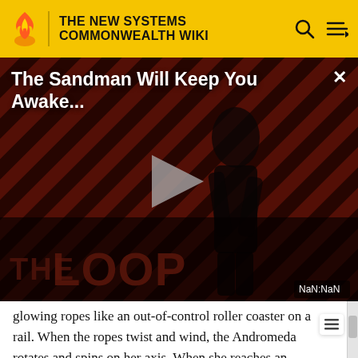THE NEW SYSTEMS COMMONWEALTH WIKI
[Figure (screenshot): Video thumbnail for 'The Sandman Will Keep You Awake...' showing a dark-clad figure against a red and black diagonal striped background. Bottom shows 'THE LOOP' text. A play button triangle is centered. NaN:NaN timestamp shown bottom right.]
glowing ropes like an out-of-control roller coaster on a rail. When the ropes twist and wind, the Andromeda rotates and spins on her axis. When she reaches an intersection, she whips off at wild angles along new tracks, whizzing along to her destination. Finally,